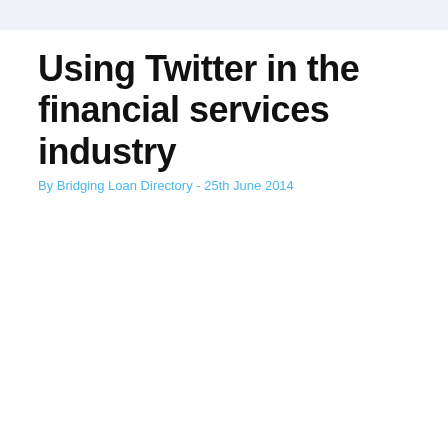Using Twitter in the financial services industry
By Bridging Loan Directory - 25th June 2014